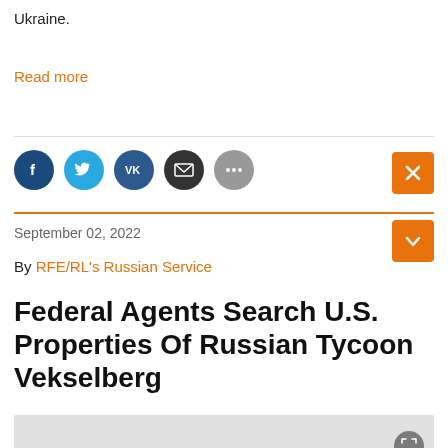Ukraine.
Read more
[Figure (other): Social sharing icons: Facebook, Twitter, VK, Email, More (...)]
September 02, 2022
By RFE/RL's Russian Service
Federal Agents Search U.S. Properties Of Russian Tycoon Vekselberg
[Figure (photo): Partial image placeholder at the bottom of the page]